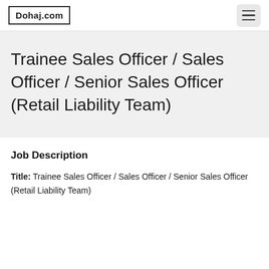Dohaj.com
Trainee Sales Officer / Sales Officer / Senior Sales Officer (Retail Liability Team)
Job Description
Title: Trainee Sales Officer / Sales Officer / Senior Sales Officer (Retail Liability Team)